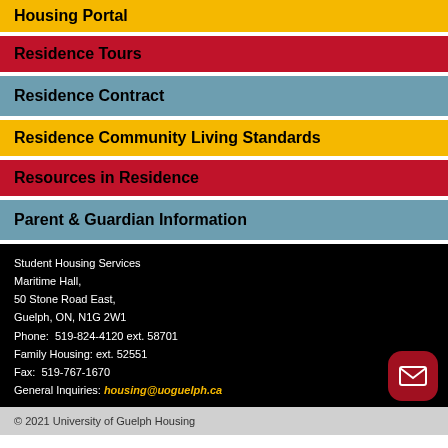Housing Portal
Residence Tours
Residence Contract
Residence Community Living Standards
Resources in Residence
Parent & Guardian Information
Student Housing Services
Maritime Hall,
50 Stone Road East,
Guelph, ON, N1G 2W1
Phone:  519-824-4120 ext. 58701
Family Housing: ext. 52551
Fax:  519-767-1670
General Inquiries: housing@uoguelph.ca
© 2021 University of Guelph Housing